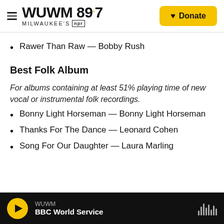WUWM 89.7 Milwaukee's NPR — Donate
Rawer Than Raw — Bobby Rush
Best Folk Album
For albums containing at least 51% playing time of new vocal or instrumental folk recordings.
Bonny Light Horseman — Bonny Light Horseman
Thanks For The Dance — Leonard Cohen
Song For Our Daughter — Laura Marling
WUWM — BBC World Service